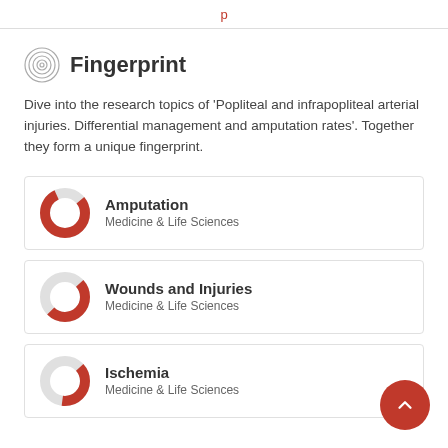Fingerprint
Fingerprint
Dive into the research topics of 'Popliteal and infrapopliteal arterial injuries. Differential management and amputation rates'. Together they form a unique fingerprint.
Amputation
Medicine & Life Sciences
Wounds and Injuries
Medicine & Life Sciences
Ischemia
Medicine & Life Sciences